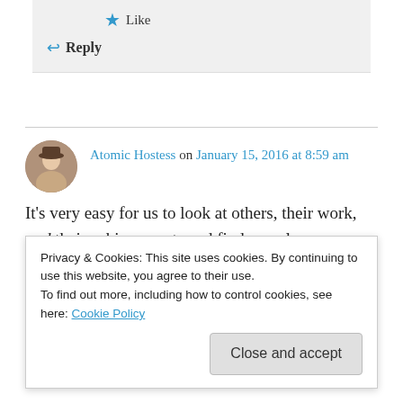Like
Reply
Atomic Hostess on January 15, 2016 at 8:59 am
It's very easy for us to look at others, their work,
Privacy & Cookies: This site uses cookies. By continuing to use this website, you agree to their use. To find out more, including how to control cookies, see here: Cookie Policy
Close and accept